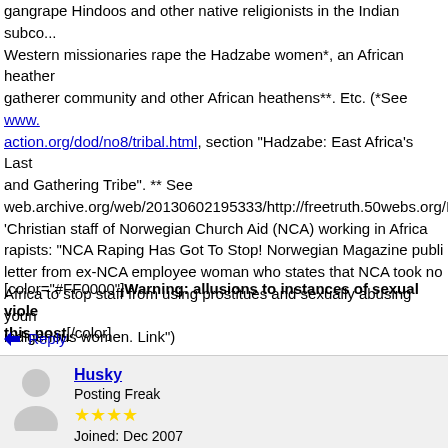gangrape Hindoos and other native religionists in the Indian subcon... Western missionaries rape the Hadzabe women*, an African heather gatherer community and other African heathens**. Etc. (*See www.action.org/dod/no8/tribal.html, section "Hadzabe: East Africa's Last and Gathering Tribe". ** See web.archive.org/web/20130602195333/http://freetruth.50webs.org/I 'Christian staff of Norwegian Church Aid (NCA) working in Africa rapists: "NCA Raping Has Got To Stop! Norwegian Magazine publi letter from ex-NCA employee woman who states that NCA took no Africa to stop staff from using prostitues and sexually abusing youn indigenous women. Link")
[color="#FF0000"]Warning: allusions to instances of sexual viole this post[/color]
Reply
[Figure (illustration): Gray silhouette avatar of a generic person (no face), used as default user profile picture]
Husky
Posting Freak
★★★★
Joined: Dec 2007